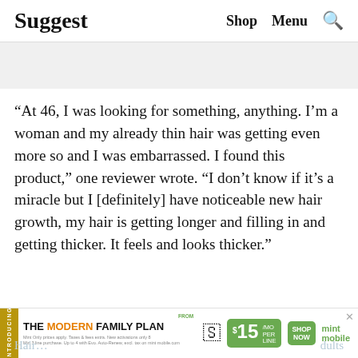Suggest   Shop   Menu   🔍
“At 46, I was looking for something, anything. I’m a woman and my already thin hair was getting even more so and I was embarrassed. I found this product,” one reviewer wrote. “I don’t know if it’s a miracle but I [definitely] have noticeable new hair growth, my hair is getting longer and filling in and getting thicker. It feels and looks thicker.”
[Figure (infographic): Advertisement banner for Mint Mobile's The Modern Family Plan, $15/mo per line, with Shop Now button and mint mobile logo.]